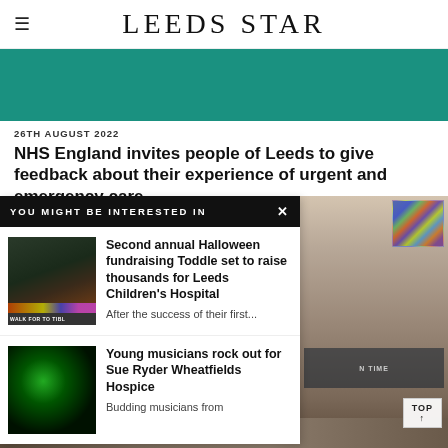LEEDS STAR
[Figure (photo): Teal/green hero image banner]
26TH AUGUST 2022
NHS England invites people of Leeds to give feedback about their experience of urgent and emergency care
YOU MIGHT BE INTERESTED IN
[Figure (photo): Halloween Toddle event - children running outdoors]
Second annual Halloween fundraising Toddle set to raise thousands for Leeds Children's Hospital
After the success of their first...
[Figure (photo): Young musician performing with green stage lighting]
Young musicians rock out for Sue Ryder Wheatfields Hospice
Budding musicians from